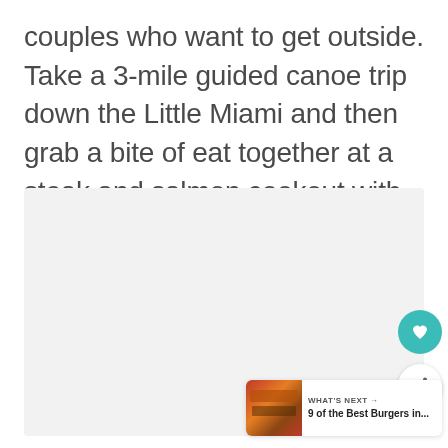couples who want to get outside. Take a 3-mile guided canoe trip down the Little Miami and then grab a bite of eat together at a steak and salmon cookout with live music.
[Figure (other): Light gray placeholder image area representing embedded content]
WHAT'S NEXT → 9 of the Best Burgers in...